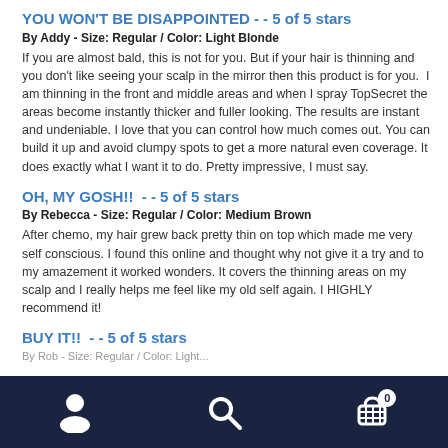YOU WON'T BE DISAPPOINTED - - 5 of 5 stars
By Addy - Size: Regular / Color: Light Blonde
If you are almost bald, this is not for you. But if your hair is thinning and you don't like seeing your scalp in the mirror then this product is for you.  I am thinning in the front and middle areas and when I spray TopSecret the areas become instantly thicker and fuller looking. The results are instant and undeniable. I love that you can control how much comes out. You can build it up and avoid clumpy spots to get a more natural even coverage. It does exactly what I want it to do. Pretty impressive, I must say.
OH, MY GOSH!!  - - 5 of 5 stars
By Rebecca - Size: Regular / Color: Medium Brown
After chemo, my hair grew back pretty thin on top which made me very self conscious. I found this online and thought why not give it a try and to my amazement it worked wonders. It covers the thinning areas on my scalp and I really helps me feel like my old self again. I HIGHLY recommend it!
BUY IT!!  - - 5 of 5 stars
By Rob - Size: Regular / Color: Light...
Navigation bar with person, search, and cart icons